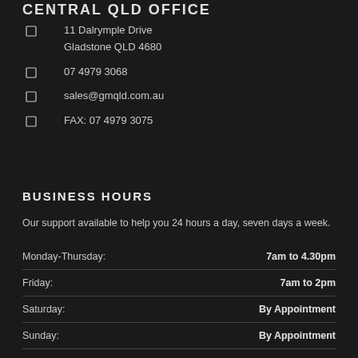CENTRAL QLD OFFICE
11 Dalrymple Drive
Gladstone QLD 4680
07 4979 3068
sales@gmqld.com.au
FAX: 07 4979 3075
BUSINESS HOURS
Our support available to help you 24 hours a day, seven days a week.
| Day | Hours |
| --- | --- |
| Monday-Thursday: | 7am to 4.30pm |
| Friday: | 7am to 2pm |
| Saturday: | By Appointment |
| Sunday: | By Appointment |